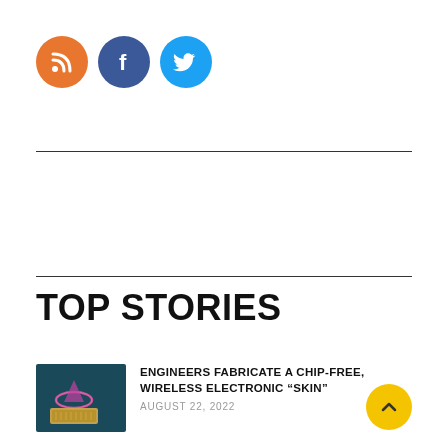[Figure (logo): Three social media icon circles: RSS (orange), Facebook (dark blue), Twitter (light blue)]
TOP STORIES
[Figure (photo): Technology image showing a chip-free wireless electronic skin device with pink glowing ring and circuit board]
ENGINEERS FABRICATE A CHIP-FREE, WIRELESS ELECTRONIC “SKIN”
AUGUST 22, 2022